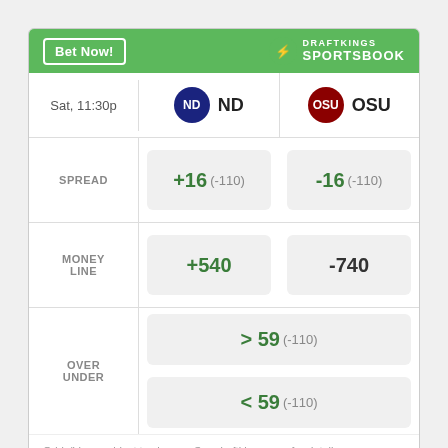[Figure (screenshot): DraftKings Sportsbook odds widget header with green bar, Bet Now button, and DraftKings logo]
|  | ND | OSU |
| --- | --- | --- |
| Sat, 11:30p | ND | OSU |
| SPREAD | +16 (-110) | -16 (-110) |
| MONEY LINE | +540 | -740 |
| OVER UNDER | > 59 (-110) | < 59 (-110) |
Odds/Lines subject to change. See draftkings.com for details.